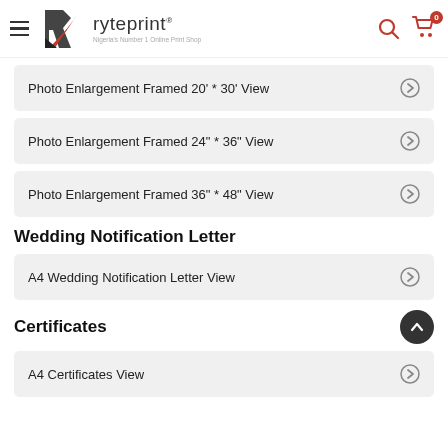ryteprint — Nigeria's Number 1 Online Print Shop
Photo Enlargement Framed 20' * 30'  View
Photo Enlargement Framed 24" * 36"  View
Photo Enlargement Framed 36" * 48"  View
Wedding Notification Letter
A4 Wedding Notification Letter  View
Certificates
A4 Certificates  View